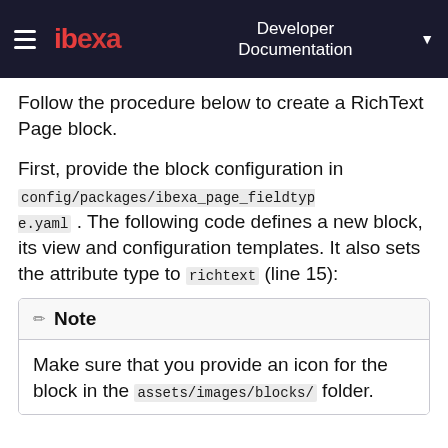ibexa Developer Documentation
Follow the procedure below to create a RichText Page block.
First, provide the block configuration in config/packages/ibexa_page_fieldtype.yaml . The following code defines a new block, its view and configuration templates. It also sets the attribute type to richtext (line 15):
Note
Make sure that you provide an icon for the block in the assets/images/blocks/ folder.